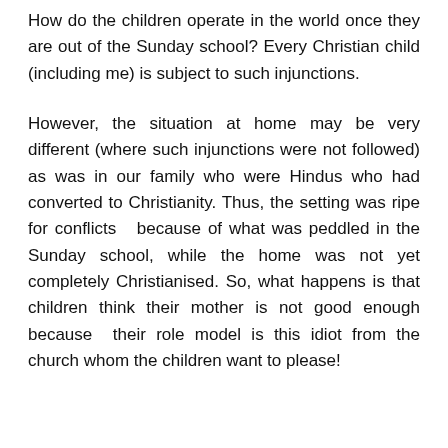How do the children operate in the world once they are out of the Sunday school? Every Christian child (including me) is subject to such injunctions.
However, the situation at home may be very different (where such injunctions were not followed) as was in our family who were Hindus who had converted to Christianity. Thus, the setting was ripe for conflicts because of what was peddled in the Sunday school, while the home was not yet completely Christianised. So, what happens is that children think their mother is not good enough because their role model is this idiot from the church whom the children want to please!